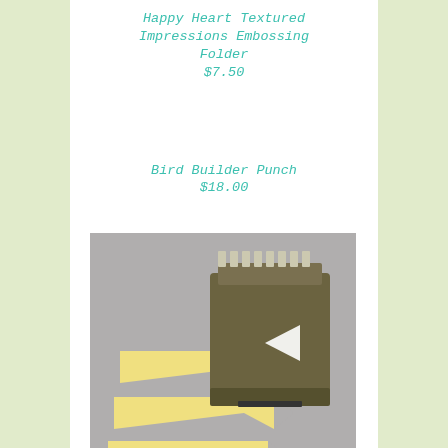Happy Heart Textured Impressions Embossing Folder
$7.50
Bird Builder Punch
$18.00
[Figure (photo): Photo of a Banner Triple Punch tool with yellow banner-shaped punched pieces on a grey background]
Banner Triple Punch